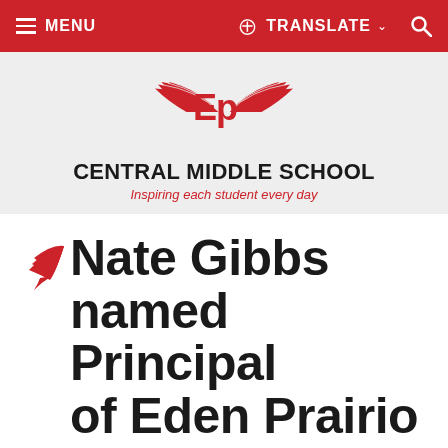MENU   TRANSLATE   [search]
[Figure (logo): Eden Prairie Schools EP logo with wings, red and white, above Central Middle School wordmark]
CENTRAL MIDDLE SCHOOL
Inspiring each student every day
Nate Gibbs named Principal of Eden Prairio